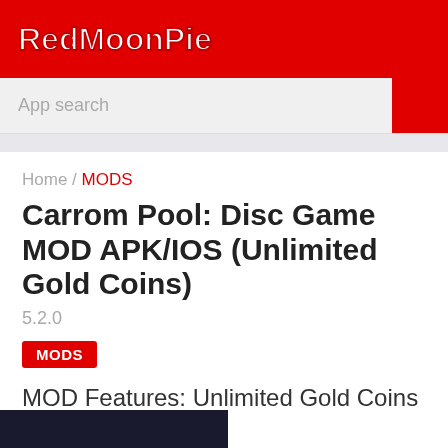RedMoonPie
App search
Home / MODS
Carrom Pool: Disc Game MOD APK/IOS (Unlimited Gold Coins)
5.2.0
MODS
MOD Features: Unlimited Gold Coins